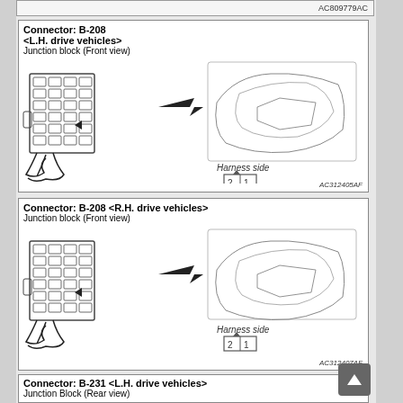[Figure (schematic): Top bar with AC809779AC label]
[Figure (engineering-diagram): Connector B-208 LH drive vehicles - Junction block front view with harness side connector diagram showing pins 2 and 1. Figure ID: AC312405AF]
[Figure (engineering-diagram): Connector B-208 RH drive vehicles - Junction block front view with harness side connector diagram showing pins 2 and 1. Figure ID: AC312407AF]
[Figure (engineering-diagram): Connector B-231 LH drive vehicles - Junction Block Rear view (partial, cut off at bottom)]